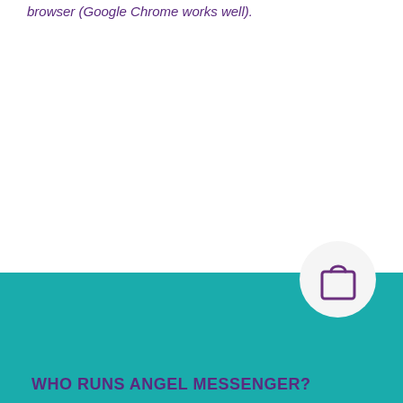browser (Google Chrome works well).
[Figure (illustration): Teal/turquoise footer bar with a circular white icon button containing a shopping bag icon in purple, positioned at the upper right of the bar.]
WHO RUNS ANGEL MESSENGER?